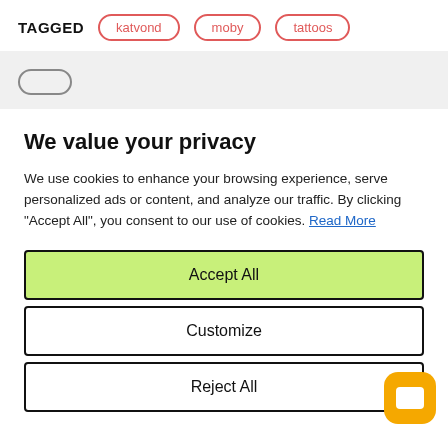TAGGED
katvond
moby
tattoos
We value your privacy
We use cookies to enhance your browsing experience, serve personalized ads or content, and analyze our traffic. By clicking "Accept All", you consent to our use of cookies. Read More
Accept All
Customize
Reject All